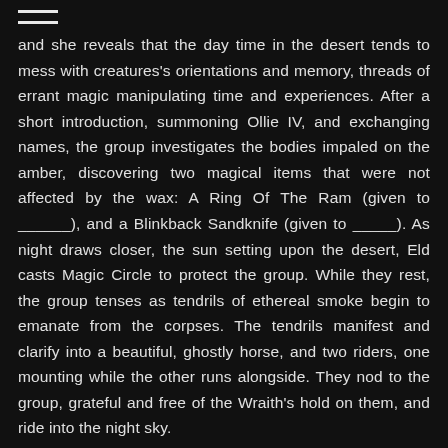≡
and she reveals that the day time in the desert tends to mess with creatures's orientations and memory, threads of errant magic manipulating time and experiences. After a short introduction, summoning Ollie IV, and exchanging names, the group investigates the bodies impaled on the amber, discovering two magical items that were not affected by the wax: A Ring Of The Ram (given to ______), and a Blinkback Sandknife (given to _____). As night draws closer, the sun setting upon the desert, Eld casts Magic Circle to protect the group. While they rest, the group tenses as tendrils of ethereal smoke begin to emanate from the corpses.  The tendrils manifest and clarify into a beautiful, ghostly horse, and two riders, one mounting while the other runs alongside.  They nod to the group, grateful and free of the Wraith's hold on them, and ride into the night sky.